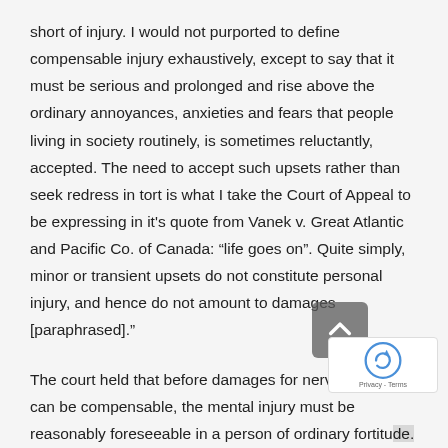short of injury. I would not purported to define compensable injury exhaustively, except to say that it must be serious and prolonged and rise above the ordinary annoyances, anxieties and fears that people living in society routinely, is sometimes reluctantly, accepted. The need to accept such upsets rather than seek redress in tort is what I take the Court of Appeal to be expressing in it's quote from Vanek v. Great Atlantic and Pacific Co. of Canada: “life goes on”. Quite simply, minor or transient upsets do not constitute personal injury, and hence do not amount to damages [paraphrased].”
The court held that before damages for nervous shock can be compensable, the mental injury must be reasonably foreseeable in a person of ordinary fortitude.